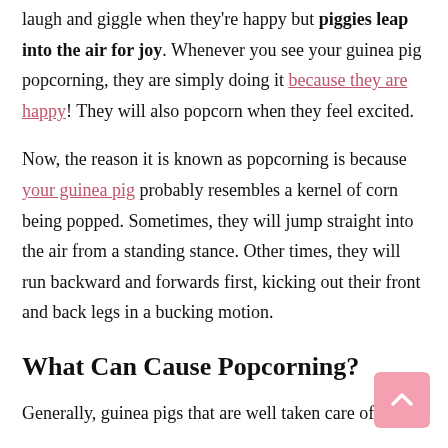laugh and giggle when they're happy but piggies leap into the air for joy. Whenever you see your guinea pig popcorning, they are simply doing it because they are happy! They will also popcorn when they feel excited.
Now, the reason it is known as popcorning is because your guinea pig probably resembles a kernel of corn being popped. Sometimes, they will jump straight into the air from a standing stance. Other times, they will run backward and forwards first, kicking out their front and back legs in a bucking motion.
What Can Cause Popcorning?
Generally, guinea pigs that are well taken care of are